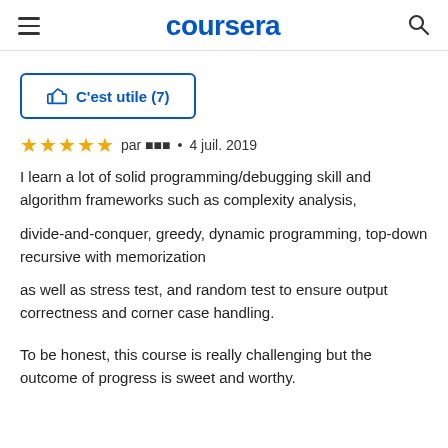coursera
C'est utile (7)
par ��� • 4 juil. 2019
I learn a lot of solid programming/debugging skill and algorithm frameworks such as complexity analysis,

divide-and-conquer, greedy, dynamic programming, top-down recursive with memorization

as well as stress test, and random test to ensure output correctness and corner case handling.


To be honest, this course is really challenging but the outcome of progress is sweet and worthy.